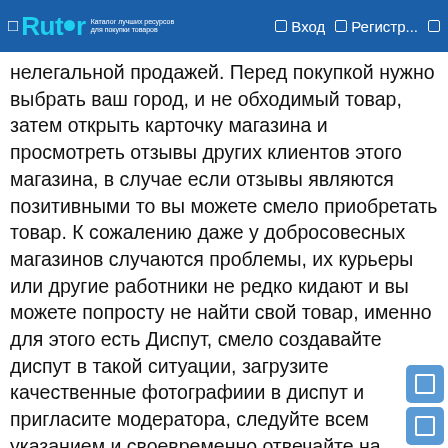Rutor — Вход — Регистр...
нелегальной продажей. Перед покупкой нужно выбрать ваш город, и не обходимый товар, затем открыть карточку магазина и просмотреть отзывы других клиентов этого магазина, в случае если отзывы являются позитивными то вы можете смело приобретать товар. К сожалению даже у добросовесных магазинов случаются проблемы, их курьеры или другие работники не редко кидают и вы можете попросту не найти свой товар, именно для этого есть Диспут, смело создавайте диспут в такой ситуации, загрузите качественные фотографиии в диспут и пригласите модератора, следуйте всем указанием и своевременно отвечайте на вопросы, тогда скорее всего вам смогут оперативно помочь и решить вашу проблему. Но если у вашего аккаунта на гидре имеется слишком мало отзывов то результат могут вынести не в вашу пользу, ну тут уже ничего не поделаешь, что бы вам доверяли нужно сделать хорошую репутацию о своем аккаунте. Если вы видите у магазина много плохих отзывов то конечно же лучше не делать в нем никаких покупок, скорее всего такой магазин